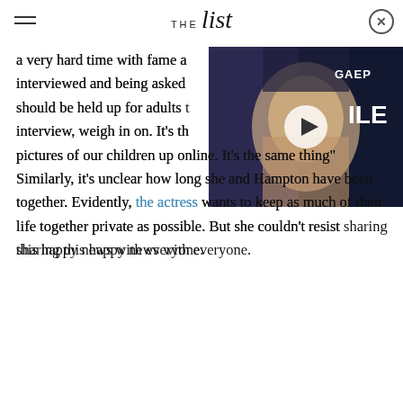THE list
[Figure (photo): Video thumbnail showing a young Asian boy at a red carpet event, with a play button overlay. Partial text 'GAEP' and 'ILE' visible in background.]
a very hard time with fame and being interviewed and being asked questions that should be held up for adults to, in an interview, weigh in on. It's the same as putting pictures of our children up online. It's the same thing" Similarly, it's unclear how long she and Hampton have been together. Evidently, the actress wants to keep as much of their life together private as possible. But she couldn't resist sharing this happy news with everyone.